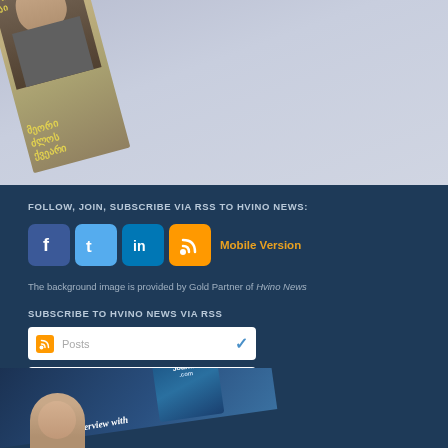[Figure (photo): Top portion showing a book cover with Georgian text and a person's partial face, on a blue-grey background]
FOLLOW, JOIN, SUBSCRIBE VIA RSS TO HVINO NEWS:
[Figure (infographic): Social media icons: Facebook, Twitter, LinkedIn, RSS, and Mobile Version link]
The background image is provided by Gold Partner of Hvino News
SUBSCRIBE TO HVINO NEWS VIA RSS
[Figure (screenshot): RSS Posts dropdown widget]
[Figure (screenshot): RSS Comments dropdown widget]
[Figure (photo): Bottom portion showing Caucasian Journal magazine cover with person's head and magazine text]